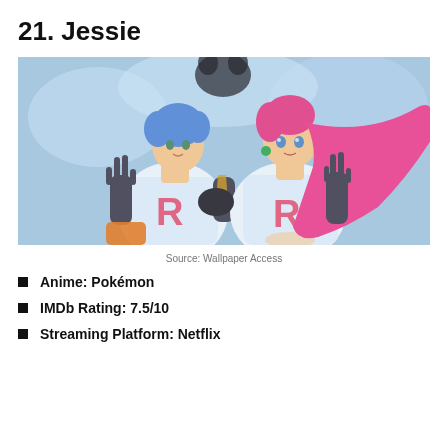21. Jessie
[Figure (illustration): Anime illustration of Jessie and James from Pokémon (Team Rocket), both wearing white Team Rocket uniforms with red R logos, making peace signs with black gloves, Jessie with long pink hair and James with blue hair, on a light blue background.]
Source: Wallpaper Access
Anime: Pokémon
IMDb Rating: 7.5/10
Streaming Platform: Netflix